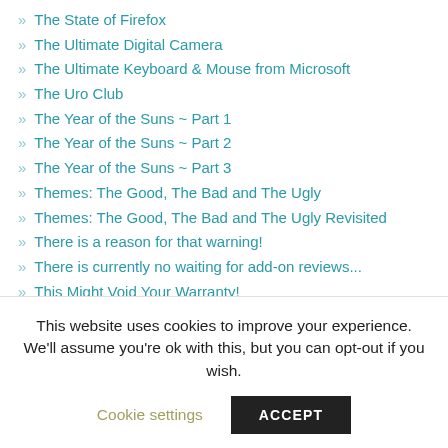» The State of Firefox
» The Ultimate Digital Camera
» The Ultimate Keyboard & Mouse from Microsoft
» The Uro Club
» The Year of the Suns ~ Part 1
» The Year of the Suns ~ Part 2
» The Year of the Suns ~ Part 3
» Themes: The Good, The Bad and The Ugly
» Themes: The Good, The Bad and The Ugly Revisited
» There is a reason for that warning!
» There is currently no waiting for add-on reviews...
» This Might Void Your Warranty!
» Thoughts About TBird Bug 531088
» Thoughts: Chrome Not Importing Fx Settings
» Thunderbid 2.0pb1 & Buttons! Update
» Thunderbird
» Thunderbird 'Tabs' Extensions
This website uses cookies to improve your experience. We'll assume you're ok with this, but you can opt-out if you wish.
Cookie settings   ACCEPT